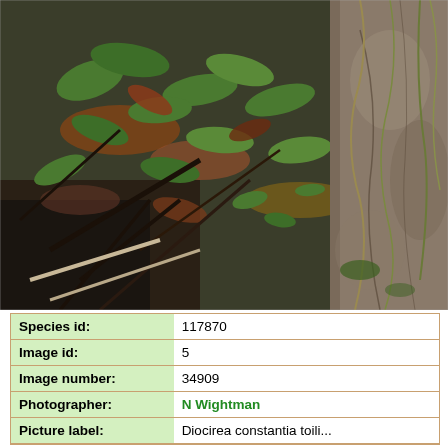[Figure (photo): Forest floor photograph showing green leafy plants, dry brown leaves, dark soil, branches, and a large tree trunk or rock surface with vines and roots on the right side.]
| Species id: | 117870 |
| Image id: | 5 |
| Image number: | 34909 |
| Photographer: | N Wightman |
| Picture label: | Diocirea constantia toili... |